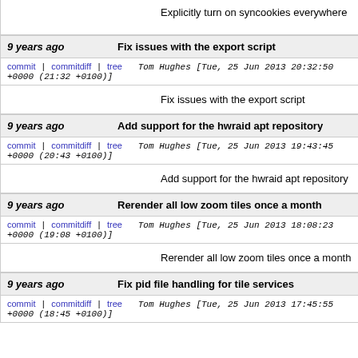Explicitly turn on syncookies everywhere
9 years ago   Fix issues with the export script
commit | commitdiff | tree   Tom Hughes [Tue, 25 Jun 2013 20:32:50 +0000 (21:32 +0100)]
Fix issues with the export script
9 years ago   Add support for the hwraid apt repository
commit | commitdiff | tree   Tom Hughes [Tue, 25 Jun 2013 19:43:45 +0000 (20:43 +0100)]
Add support for the hwraid apt repository
9 years ago   Rerender all low zoom tiles once a month
commit | commitdiff | tree   Tom Hughes [Tue, 25 Jun 2013 18:08:23 +0000 (19:08 +0100)]
Rerender all low zoom tiles once a month
9 years ago   Fix pid file handling for tile services
commit | commitdiff | tree   Tom Hughes [Tue, 25 Jun 2013 17:45:55 +0000 (18:45 +0100)]